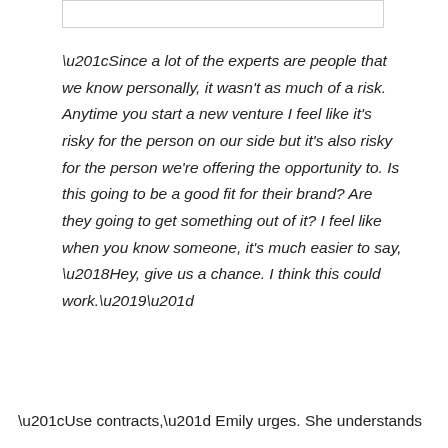“Since a lot of the experts are people that we know personally, it wasn't as much of a risk. Anytime you start a new venture I feel like it's risky for the person on our side but it's also risky for the person we're offering the opportunity to. Is this going to be a good fit for their brand? Are they going to get something out of it? I feel like when you know someone, it's much easier to say, ‘Hey, give us a chance. I think this could work.’”
“Use contracts,” Emily urges. She understands